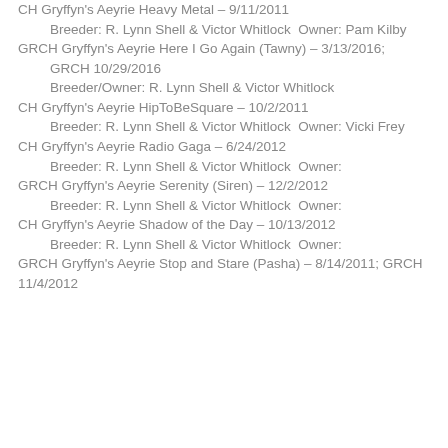CH Gryffyn's Aeyrie Heavy Metal – 9/11/2011
    Breeder: R. Lynn Shell & Victor Whitlock  Owner: Pam Kilby
GRCH Gryffyn's Aeyrie Here I Go Again (Tawny) – 3/13/2016;
    GRCH 10/29/2016
    Breeder/Owner: R. Lynn Shell & Victor Whitlock
CH Gryffyn's Aeyrie HipToBeSquare – 10/2/2011
    Breeder: R. Lynn Shell & Victor Whitlock  Owner: Vicki Frey
CH Gryffyn's Aeyrie Radio Gaga – 6/24/2012
    Breeder: R. Lynn Shell & Victor Whitlock  Owner:
GRCH Gryffyn's Aeyrie Serenity (Siren) – 12/2/2012
    Breeder: R. Lynn Shell & Victor Whitlock  Owner:
CH Gryffyn's Aeyrie Shadow of the Day – 10/13/2012
    Breeder: R. Lynn Shell & Victor Whitlock  Owner:
GRCH Gryffyn's Aeyrie Stop and Stare (Pasha) – 8/14/2011; GRCH 11/4/2012